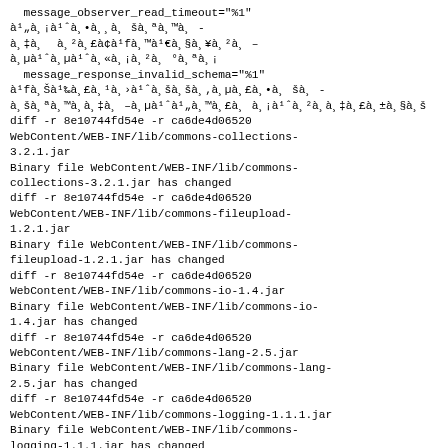message_observer_read_timeout="%1"
à¹„à¸¡à¹ˆà¸•à¸¸à¸ šà¸ªà¸™à¸ -
à¸‡à¸  à¸²à¸£à¢à¹fà¸™à¸à¹€à¸§à¸¥à¸²à¸ –
à¸µà¹ˆà¹€à¹€à¸«à¸¡à¸²à¸ °à¸ªà¸¡
  message_response_invalid_schema="%1"
à¹fà¸Šà¹‰à¸£à¸¹à¸›à¹à¸šà¸šà¸‚à¸µà¸£à¸•à¸ •à¸ -
à¸šà¸ªà¸™à¸à¸‡à¸ –à¸µà¹ˆà¹„à¸™à¸£à¸ à¸¡à¹ˆà¸²à¸à¸‡à¸£à¸±à¸§à¸š
diff -r 8e10744fd54e -r ca6de4d06520
WebContent/WEB-INF/lib/commons-collections-
3.2.1.jar
Binary file WebContent/WEB-INF/lib/commons-
collections-3.2.1.jar has changed
diff -r 8e10744fd54e -r ca6de4d06520
WebContent/WEB-INF/lib/commons-fileupload-
1.2.1.jar
Binary file WebContent/WEB-INF/lib/commons-
fileupload-1.2.1.jar has changed
diff -r 8e10744fd54e -r ca6de4d06520
WebContent/WEB-INF/lib/commons-io-1.4.jar
Binary file WebContent/WEB-INF/lib/commons-io-
1.4.jar has changed
diff -r 8e10744fd54e -r ca6de4d06520
WebContent/WEB-INF/lib/commons-lang-2.5.jar
Binary file WebContent/WEB-INF/lib/commons-lang-
2.5.jar has changed
diff -r 8e10744fd54e -r ca6de4d06520
WebContent/WEB-INF/lib/commons-logging-1.1.1.jar
Binary file WebContent/WEB-INF/lib/commons-
logging-1.1.1.jar has changed